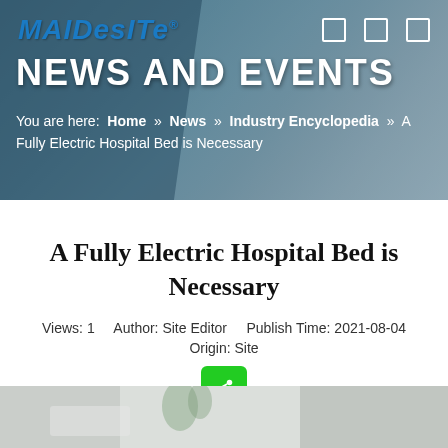[Figure (screenshot): Maidesite website header with NEWS AND EVENTS banner, logo top left, navigation icons top right, with blurred hospital/medical background image]
MAIDESITE® NEWS AND EVENTS
You are here: Home » News » Industry Encyclopedia » A Fully Electric Hospital Bed is Necessary
A Fully Electric Hospital Bed is Necessary
Views: 1    Author: Site Editor    Publish Time: 2021-08-04    Origin: Site
[Figure (illustration): Share button (green rounded square with share icon)]
[Figure (photo): Partial photo of hospital room with bed and plants at bottom of page]